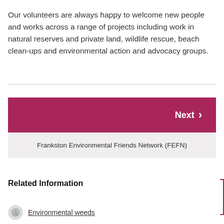Our volunteers are always happy to welcome new people and works across a range of projects including work in natural reserves and private land, wildlife rescue, beach clean-ups and environmental action and advocacy groups.
Next > Frankston Environmental Friends Network (FEFN)
Related Information
Environmental weeds